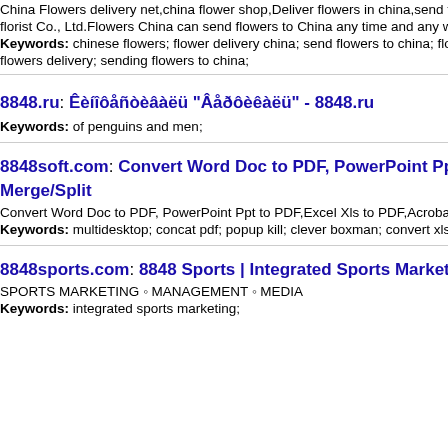China Flowers delivery net,china flower shop,Deliver flowers in china,send flowers C florist Co., Ltd.Flowers China can send flowers to China any time and any where.sen
Keywords: chinese flowers; flower delivery china; send flowers to china; flowers to c flowers delivery; sending flowers to china;
8848.ru: Êèíîôåñòèâàëü "Âåðôèêàëü" - 8848.ru
Keywords: of penguins and men;
8848soft.com: Convert Word Doc to PDF, PowerPoint Ppt to PDF,Ex Merge/Split
Convert Word Doc to PDF, PowerPoint Ppt to PDF,Excel Xls to PDF,Acrobat passwo
Keywords: multidesktop; concat pdf; popup kill; clever boxman; convert xls to ppt; c
8848sports.com: 8848 Sports | Integrated Sports Marketing Solution
SPORTS MARKETING ◦ MANAGEMENT ◦ MEDIA
Keywords: integrated sports marketing;